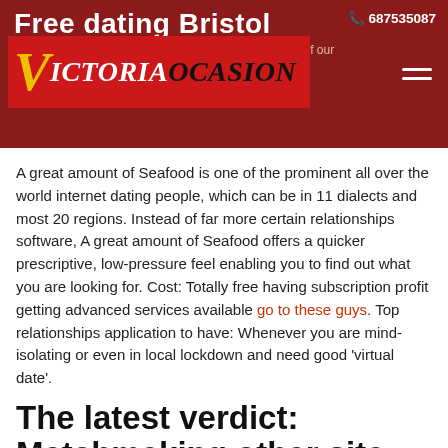Free dating Bristol · 687535087 · The Soulmate Was Available. Find them With the help of our Eligible... like? This is how we are in... ents.
[Figure (logo): VictoriaOcasion logo — red banner with yellow V and white/black text]
A great amount of Seafood is one of the prominent all over the world internet dating people, which can be in 11 dialects and most 20 regions. Instead of far more certain relationships software, A great amount of Seafood offers a quicker prescriptive, low-pressure feel enabling you to find out what you are looking for. Cost: Totally free having subscription profit getting advanced services available go to these guys. Top relationships application to have: Whenever you are mind-isolating or even in local lockdown and need good 'virtual date'.
The latest verdict: Matchmaking other site
Regarding less potential partner in order to socially distanced